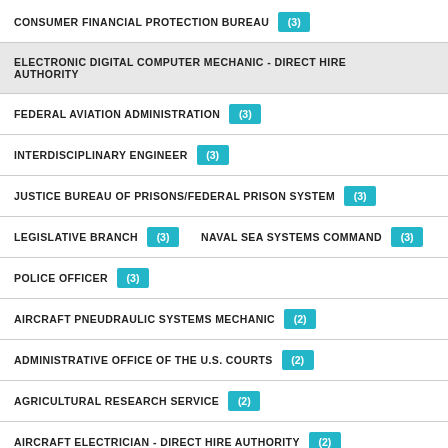CONSUMER FINANCIAL PROTECTION BUREAU (3)
ELECTRONIC DIGITAL COMPUTER MECHANIC - DIRECT HIRE AUTHORITY
FEDERAL AVIATION ADMINISTRATION (3)
INTERDISCIPLINARY ENGINEER (3)
JUSTICE BUREAU OF PRISONS/FEDERAL PRISON SYSTEM (3)
LEGISLATIVE BRANCH (3)  NAVAL SEA SYSTEMS COMMAND (3)
POLICE OFFICER (3)
AIRCRAFT PNEUDRAULIC SYSTEMS MECHANIC (2)
ADMINISTRATIVE OFFICE OF THE U.S. COURTS (2)
AGRICULTURAL RESEARCH SERVICE (2)
AIRCRAFT ELECTRICIAN - DIRECT HIRE AUTHORITY (2)
ATTORNEY AND ASSISTANT UNITED STATES ATTORNEY (2)
BLOCKING AND BRACING - DIRECT HIRE AUTHORITY (2)